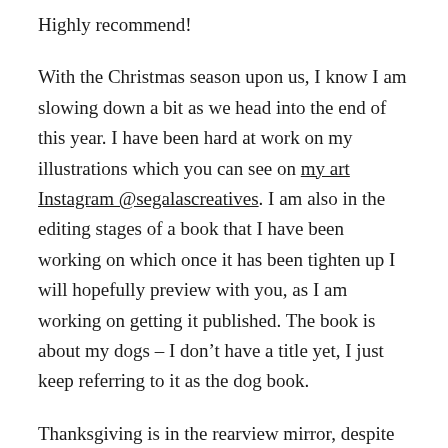Highly recommend!
With the Christmas season upon us, I know I am slowing down a bit as we head into the end of this year. I have been hard at work on my illustrations which you can see on my art Instagram @segalascreatives. I am also in the editing stages of a book that I have been working on which once it has been tighten up I will hopefully preview with you, as I am working on getting it published. The book is about my dogs – I don’t have a title yet, I just keep referring to it as the dog book.
Thanksgiving is in the rearview mirror, despite the fact that the oil is still in the deep fryer in the garage and the turkey soup is frozen on the screened in porch. Christmas decorations are already up, gifts are almost all purchased and yesterday I remembered to order a few Christmas desserts and cookies so the meal will be complete. The rest of the month I will continue to work on my illustrations, book and end the year by